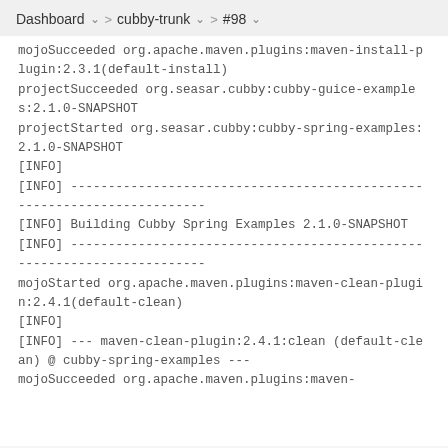Dashboard > cubby-trunk > #98
mojoSucceeded org.apache.maven.plugins:maven-install-plugin:2.3.1(default-install)
projectSucceeded org.seasar.cubby:cubby-guice-examples:2.1.0-SNAPSHOT
projectStarted org.seasar.cubby:cubby-spring-examples:2.1.0-SNAPSHOT
[INFO]
[INFO] ------------------------------------------------------------------------
[INFO] Building Cubby Spring Examples 2.1.0-SNAPSHOT
[INFO] ------------------------------------------------------------------------
mojoStarted org.apache.maven.plugins:maven-clean-plugin:2.4.1(default-clean)
[INFO]
[INFO] --- maven-clean-plugin:2.4.1:clean (default-clean) @ cubby-spring-examples ---
mojoSucceeded org.apache.maven.plugins:maven-